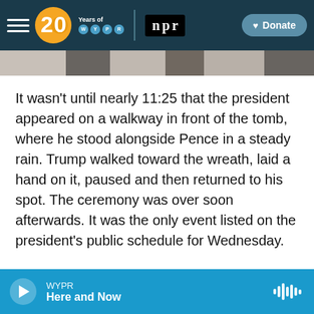[Figure (screenshot): WYPR 20 Years navigation bar with hamburger menu, WYPR 20 Years logo, NPR logo, and Donate button on dark navy background]
[Figure (photo): Partial image strip showing blurred news photos]
It wasn't until nearly 11:25 that the president appeared on a walkway in front of the tomb, where he stood alongside Pence in a steady rain. Trump walked toward the wreath, laid a hand on it, paused and then returned to his spot. The ceremony was over soon afterwards. It was the only event listed on the president's public schedule for Wednesday.
President-elect Joe Biden and his wife, Jill Biden, attended a separate ceremony in Philadelphia, where they honored veterans at the Korean War Memorial. That event included several brief
[Figure (screenshot): WYPR audio player bar in blue showing play button, WYPR station name, Here and Now show title, and waveform icon]